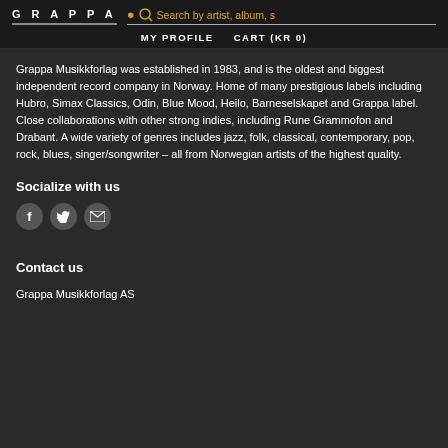GRAPPA | Search by artist, album, s | MY PROFILE  CART (KR 0)
Grappa Musikkforlag was established in 1983, and is the oldest and biggest independent record company in Norway. Home of many prestigious labels including Hubro, Simax Classics, Odin, Blue Mood, Heilo, Barneselskapet and Grappa label. Close collaborations with other strong indies, including Rune Grammofon and Drabant. A wide variety of genres includes jazz, folk, classical, contemporary, pop, rock, blues, singer/songwriter – all from Norwegian artists of the highest quality.
Socialize with us
[Figure (other): Three social media icon buttons: Facebook (f), Twitter (bird), Email (envelope)]
Contact us
Grappa Musikkforlag AS